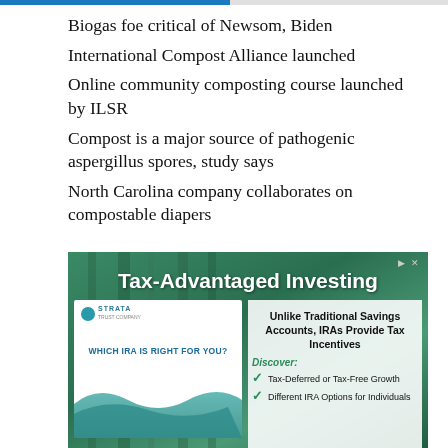Biogas foe critical of Newsom, Biden
International Compost Alliance launched
Online community composting course launched by ILSR
Compost is a major source of pathogenic aspergillus spores, study says
North Carolina company collaborates on compostable diapers
[Figure (advertisement): Tax-Advantaged Investing advertisement by Strata Trust Company. Shows a pamphlet 'WHICH IRA IS RIGHT FOR YOU?' on the left side with teal wave design. Right side shows text: 'Unlike Traditional Savings Accounts, IRAs Provide Tax Incentives'. Below that: Discover: Tax-Deferred or Tax-Free Growth, Different IRA Options for Individuals]